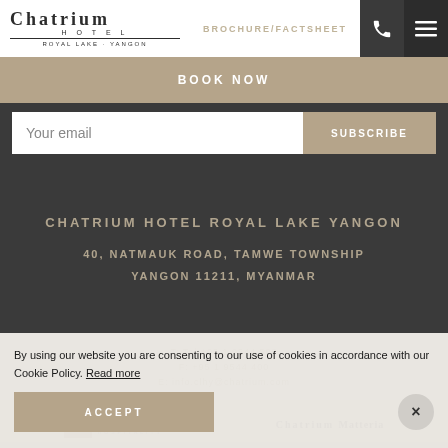CHATRIUM HOTEL ROYAL LAKE-YANGON — BROCHURE/FACTSHEET
BOOK NOW
Your email — SUBSCRIBE
CHATRIUM HOTEL ROYAL LAKE YANGON
40, NATMAUK ROAD, TAMWE TOWNSHIP
YANGON 11211, MYANMAR
T: Tel:+95 1 9544 500
F: +95 1 9544 400
E: info.clhy@chatrium.com
By using our website you are consenting to our use of cookies in accordance with our Cookie Policy. Read more
ACCEPT
CHATRIUM HOSPITALITY — CHATRIUM MATTERIA